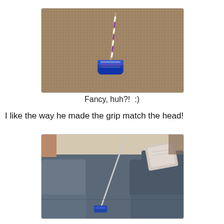[Figure (photo): A golf putter head with a striped grip (blue, white, purple stripes) resting on a beige/gray carpet. The grip wrapping matches the color scheme of the putter head.]
Fancy, huh?!  :)
I like the way he made the grip match the head!
[Figure (photo): A golf putter leaning against a blue/gray fabric recliner sofa in a living room. The putter shaft extends diagonally, with the head visible on the carpet below.]